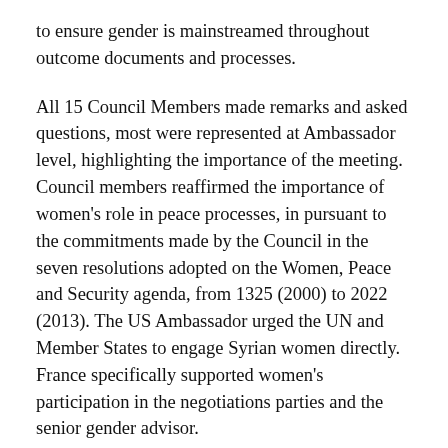to ensure gender is mainstreamed throughout outcome documents and processes.
All 15 Council Members made remarks and asked questions, most were represented at Ambassador level, highlighting the importance of the meeting. Council members reaffirmed the importance of women's role in peace processes, in pursuant to the commitments made by the Council in the seven resolutions adopted on the Women, Peace and Security agenda, from 1325 (2000) to 2022 (2013). The US Ambassador urged the UN and Member States to engage Syrian women directly. France specifically supported women's participation in the negotiations parties and the senior gender advisor.
Recommendations for Council action from Members of Council included: 1) continuing to push before Geneva II and in the follow up to to strengthen the role of women in Syrian peace processes and address this issue in any further Council products (PRSTs or resolutions), including support for the senior gender advisor); and ll) to strengthen direct...